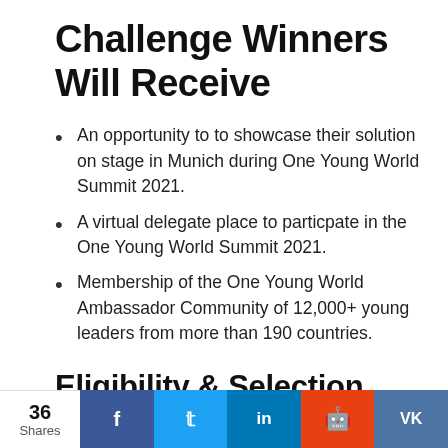Challenge Winners Will Receive
An opportunity to to showcase their solution on stage in Munich during One Young World Summit 2021.
A virtual delegate place to particpate in the One Young World Summit 2021.
Membership of the One Young World Ambassador Community of 12,000+ young leaders from more than 190 countries.
Eligibility & Selection
36 Shares · Facebook · Twitter · LinkedIn · Reddit · VK